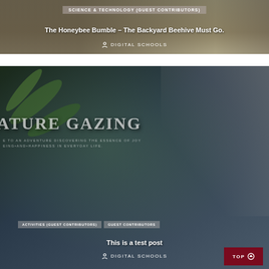[Figure (photo): Top article card with dark brownish nature background (honeybee/backyard scene)]
SCIENCE & TECHNOLOGY (GUEST CONTRIBUTORS)
The Honeybee Bumble – The Backyard Beehive Must Go.
DIGITAL SCHOOLS
[Figure (photo): Bottom article card with dark blue-green nature background featuring large text 'ATURE GAZING' and a koala in a eucalyptus tree]
ATURE GAZING
E TO AN ADVENTURE DISCOVERING THE ESSENCE OF JOY EING AND HAPPINESS IN EVERYDAY LIFE.
ACTIVITIES (GUEST CONTRIBUTORS)
GUEST CONTRIBUTORS
This is a test post
DIGITAL SCHOOLS
TOP